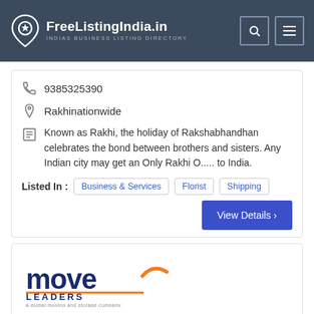FreeListingIndia.in — INDIAS BUSINESS LISTING DIRECTORY
9385325390
Rakhinationwide
Known as Rakhi, the holiday of Rakshabhandhan celebrates the bond between brothers and sisters. Any Indian city may get an Only Rakhi O..... to India.
Listed In : Business & Services  Florist  Shipping
View Details ›
[Figure (logo): Move Leaders logo — a global moving and storage company]